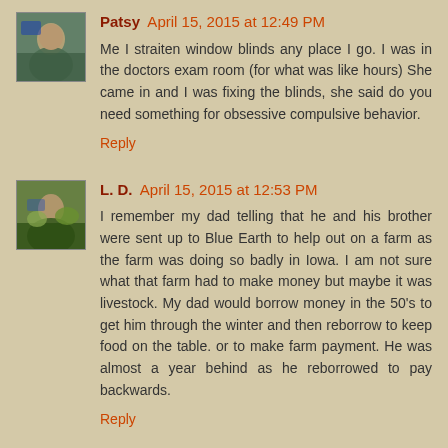Patsy  April 15, 2015 at 12:49 PM
Me I straiten window blinds any place I go. I was in the doctors exam room (for what was like hours) She came in and I was fixing the blinds, she said do you need something for obsessive compulsive behavior.
Reply
L. D.  April 15, 2015 at 12:53 PM
I remember my dad telling that he and his brother were sent up to Blue Earth to help out on a farm as the farm was doing so badly in Iowa. I am not sure what that farm had to make money but maybe it was livestock. My dad would borrow money in the 50's to get him through the winter and then reborrow to keep food on the table. or to make farm payment. He was almost a year behind as he reborrowed to pay backwards.
Reply